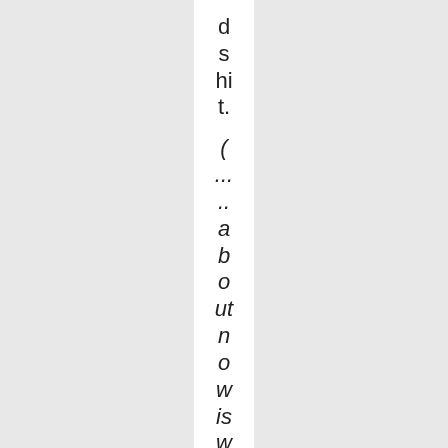ds hit. ( ... ..about now is when you needed to